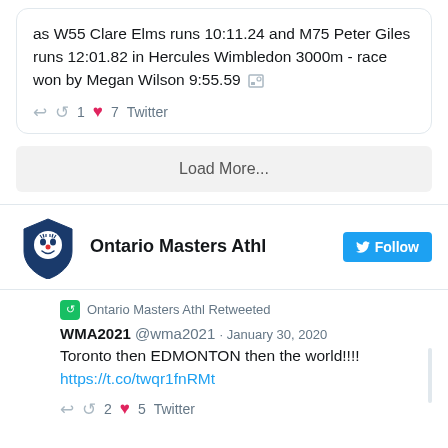as W55 Clare Elms runs 10:11.24 and M75 Peter Giles runs 12:01.82 in Hercules Wimbledon 3000m - race won by Megan Wilson 9:55.59
↩ 🔁 1 ♥ 7 Twitter
Load More...
[Figure (logo): Ontario Masters Athletics logo - blue shield with face]
Ontario Masters Athl
Follow
Ontario Masters Athl Retweeted
WMA2021 @wma2021 · January 30, 2020
Toronto then EDMONTON then the world!!!! https://t.co/twqr1fnRMt
↩ 🔁 2 ♥ 5 Twitter